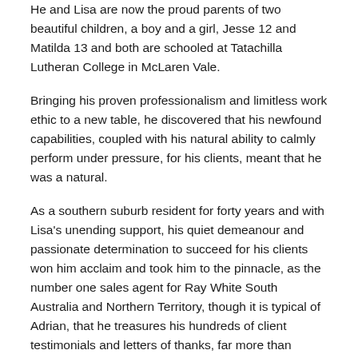He and Lisa are now the proud parents of two beautiful children, a boy and a girl, Jesse 12 and Matilda 13 and both are schooled at Tatachilla Lutheran College in McLaren Vale.
Bringing his proven professionalism and limitless work ethic to a new table, he discovered that his newfound capabilities, coupled with his natural ability to calmly perform under pressure, for his clients, meant that he was a natural.
As a southern suburb resident for forty years and with Lisa's unending support, his quiet demeanour and passionate determination to succeed for his clients won him acclaim and took him to the pinnacle, as the number one sales agent for Ray White South Australia and Northern Territory, though it is typical of Adrian, that he treasures his hundreds of client testimonials and letters of thanks, far more than anything else.
Adrian's approach is one of caring, understanding and a commitment to his client's needs.